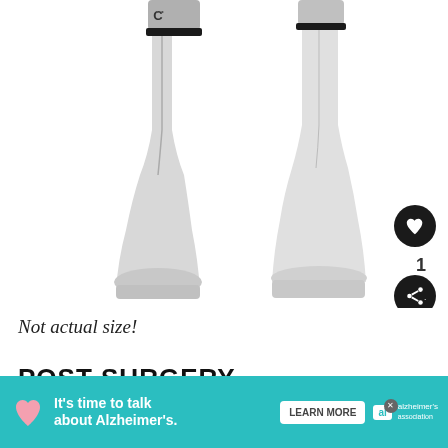[Figure (photo): Black and white photograph showing two legs/ankles side by side, possibly before and after surgery comparison, on white background]
Not actual size!
POST SURGERY
[Figure (infographic): Advertisement banner: 'It's time to talk about Alzheimer's.' with LEARN MORE button and Alzheimer's Association logo]
WHAT'S NEXT → Is Soy Good Or Bad For...